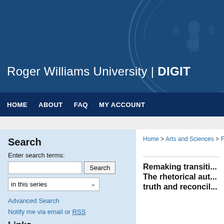Roger Williams University | DIGIT
HOME  ABOUT  FAQ  MY ACCOUNT
Search
Enter search terms:
Links
Advanced Search
Notify me via email or RSS
Roger Williams University
University Library
Home > Arts and Sciences > Fac
Remaking transiti... The rhetorical aut... truth and reconcil...